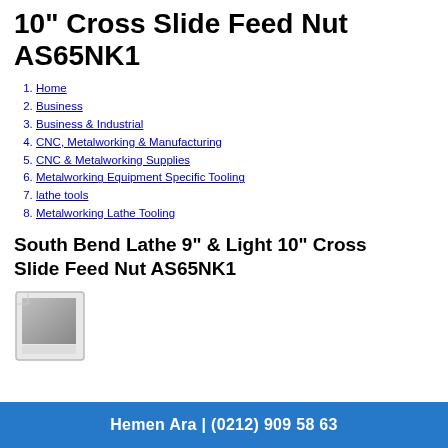10" Cross Slide Feed Nut AS65NK1
Home
Business
Business & Industrial
CNC, Metalworking & Manufacturing
CNC & Metalworking Supplies
Metalworking Equipment Specific Tooling
lathe tools
Metalworking Lathe Tooling
South Bend Lathe 9" & Light 10" Cross Slide Feed Nut AS65NK1
[Figure (photo): Polaroid-style placeholder image for product photo of South Bend Lathe Cross Slide Feed Nut AS65NK1]
Hemen Ara | (0212) 909 58 63